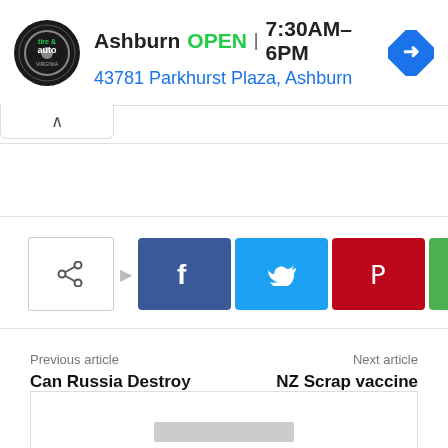[Figure (screenshot): Ad banner: Virginia Tire & Auto logo, Ashburn OPEN 7:30AM-6PM, 43781 Parkhurst Plaza Ashburn, blue navigation arrow icon]
[Figure (screenshot): Share buttons: share icon, Facebook, Twitter, Pinterest, WhatsApp]
Previous article
Can Russia Destroy Globalism?
Next article
NZ Scrap vaccine mandates